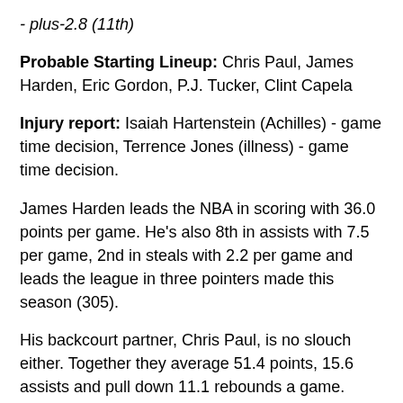- plus-2.8 (11th)
Probable Starting Lineup: Chris Paul, James Harden, Eric Gordon, P.J. Tucker, Clint Capela
Injury report: Isaiah Hartenstein (Achilles) - game time decision, Terrence Jones (illness) - game time decision.
James Harden leads the NBA in scoring with 36.0 points per game. He's also 8th in assists with 7.5 per game, 2nd in steals with 2.2 per game and leads the league in three pointers made this season (305).
His backcourt partner, Chris Paul, is no slouch either. Together they average 51.4 points, 15.6 assists and pull down 11.1 rebounds a game.